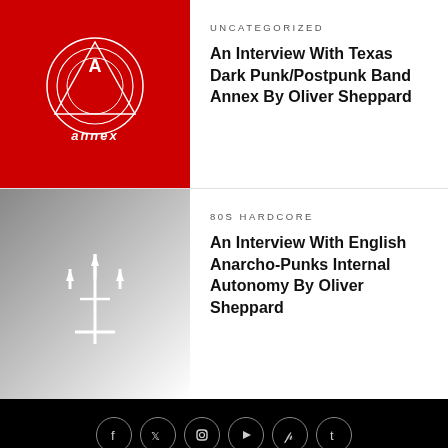[Figure (logo): Red background with annex band logo - concentric circles and triangle geometric symbol with 'annex' text]
UNCATEGORIZED
An Interview With Texas Dark Punk/Postpunk Band Annex By Oliver Sheppard
[Figure (illustration): Gray gradient background with white trident/Neptune symbol]
80S HARDCORE
An Interview With English Anarcho-Punks Internal Autonomy By Oliver Sheppard
[Figure (logo): Social media icons in circles: Facebook, Twitter, Instagram, YouTube, Pinterest, Tumblr]
CVLT Nation
Copyright © 2020 CVLT Nation. A member of the Blast Beat Network.